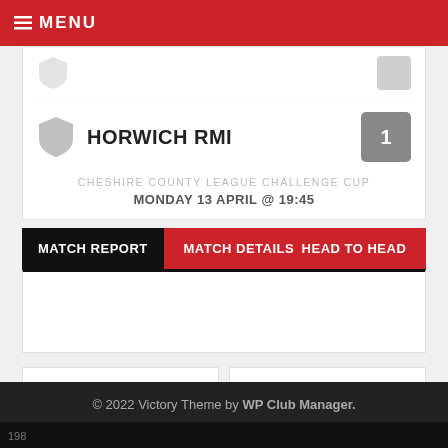≡ MENU
HORWICH RMI — 1
CHESHIRE COUNTY LEAGUE CHALLENGE CUP
MONDAY 13 APRIL @ 19:45
MATCH REPORT | MATCH DETAILS | HEAD TO HEAD
< Previous Match
Next Match >
© 2022 Victory Theme by WP Club Manager.
198